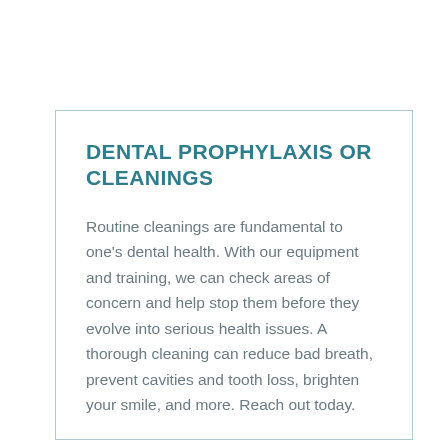DENTAL PROPHYLAXIS OR CLEANINGS
Routine cleanings are fundamental to one's dental health. With our equipment and training, we can check areas of concern and help stop them before they evolve into serious health issues. A thorough cleaning can reduce bad breath, prevent cavities and tooth loss, brighten your smile, and more. Reach out today.